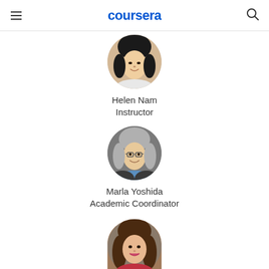coursera
[Figure (photo): Circular profile photo of Helen Nam, a woman with short black hair, smiling]
Helen Nam
Instructor
[Figure (photo): Circular profile photo of Marla Yoshida, an older woman with gray hair and glasses, smiling, wearing a blue-collared top]
Marla Yoshida
Academic Coordinator
[Figure (photo): Circular profile photo of a woman with long dark brown hair and red top, partially visible at the bottom of the page]